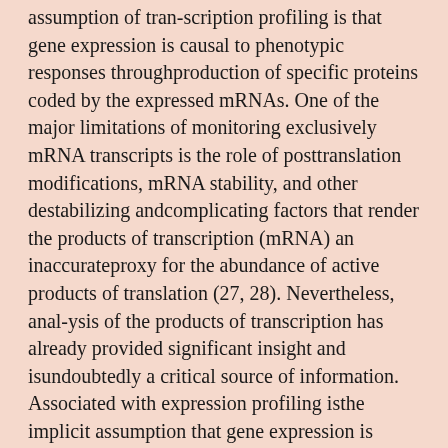assumption of tran-scription profiling is that gene expression is causal to phenotypic responses throughproduction of specific proteins coded by the expressed mRNAs. One of the major limitations of monitoring exclusively mRNA transcripts is the role of posttranslation modifications, mRNA stability, and other destabilizing andcomplicating factors that render the products of transcription (mRNA) an inaccurateproxy for the abundance of active products of translation (27, 28). Nevertheless, anal-ysis of the products of transcription has already provided significant insight and isundoubtedly a critical source of information. Associated with expression profiling isthe implicit assumption that gene expression is tightly controlled by a fine-tuned, in-tricate, and robust regulatory mechanism that appropriately activates and deactivatesthe machinery guiding the expression of genes. By now it is almost taken for grantedthat genes exhibiting similar responses to signals ought to be controlled by similarregulatory mechanisms. This is often referred to as the guilt by association principle(29). Therefore, identifying